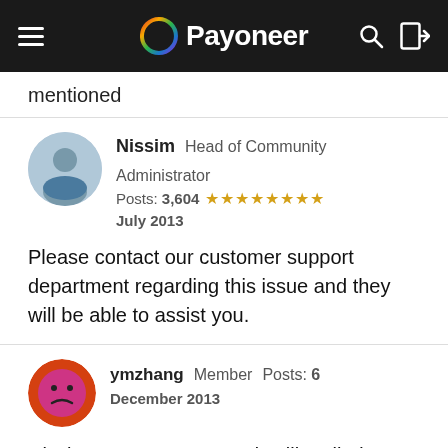Payoneer
mentioned
Nissim  Head of Community  Administrator
Posts: 3,604  ★★★★★★★★
July 2013
Please contact our customer support department regarding this issue and they will be able to assist you.
ymzhang  Member  Posts: 6
December 2013
Nissim. My payoneer card, still mailed, not ated yet. Can I Become An Affiliate For Payoneer now? I cannot find any banner to refer a